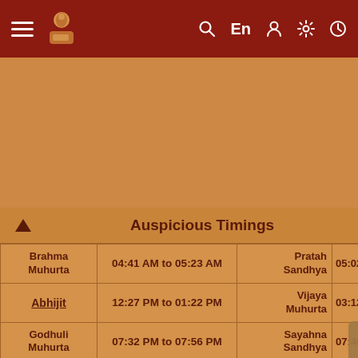≡ [logo] | Search  En  Profile  Settings  Clock
[Figure (other): Advertisement banner area with tan/orange background]
| ▲ | Auspicious Timings |  |  |
| --- | --- | --- | --- |
| Brahma Muhurta | 04:41 AM to 05:23 AM | Pratah Sandhya | 05:02 |
| Abhijit | 12:27 PM to 01:22 PM | Vijaya Muhurta | 03:12 |
| Godhuli Muhurta | 07:32 PM to 07:56 PM | Sayahna Sandhya | 07:46 |
| Amrit Kalam | 12:18 PM to 01:56 PM | Nishita Muhurta | 12:34 01:16 |
| Sarvartha Siddhi Yoga | 06:04 AM to 06:49 PM | Ravi Yoga | 09:14 |